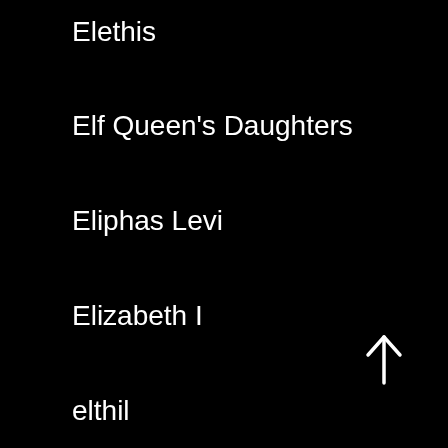Elethis
Elf Queen's Daughters
Eliphas Levi
Elizabeth I
elthil
emanation
embodiment
Emerald Light
enchantment
enclosure
energy